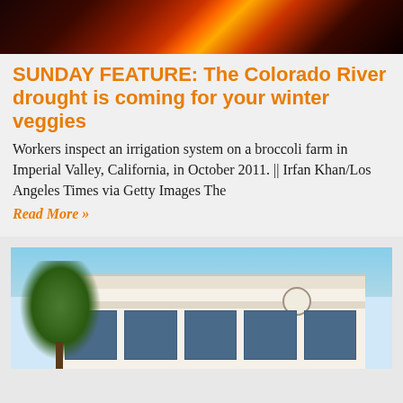[Figure (photo): Dark photo with orange/red fire or explosion imagery at top of page]
SUNDAY FEATURE: The Colorado River drought is coming for your winter veggies
Workers inspect an irrigation system on a broccoli farm in Imperial Valley, California, in October 2011. || Irfan Khan/Los Angeles Times via Getty Images The
Read More »
[Figure (photo): Exterior photo of a government or institutional building with white/beige facade, columns, windows, tree on left, blue sky]